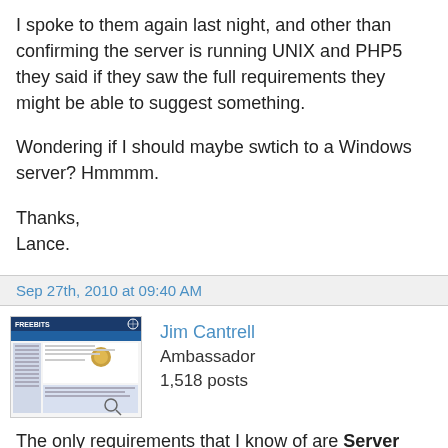I spoke to them again last night, and other than confirming the server is running UNIX and PHP5 they said if they saw the full requirements they might be able to suggest something.

Wondering if I should maybe swtich to a Windows server? Hmmmm.

Thanks,
Lance.
Sep 27th, 2010 at 09:40 AM
[Figure (screenshot): Avatar thumbnail showing a website screenshot with 'FREEBITS' header and blue navigation bar]
Jim Cantrell
Ambassador
1,518 posts
The only requirements that I know of are Server